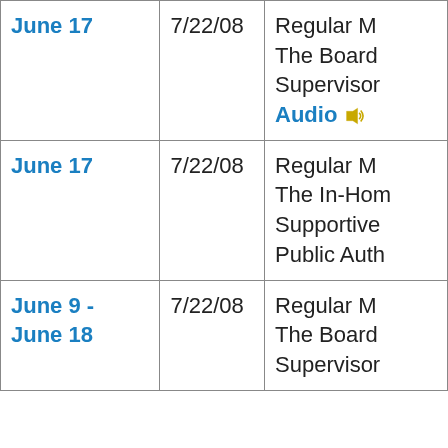| June 17 | 7/22/08 | Regular M...
The Board
Supervisor
Audio |
| June 17 | 7/22/08 | Regular M...
The In-Hom
Supportive
Public Auth |
| June 9 -
June 18 | 7/22/08 | Regular M...
The Board
Supervisor |